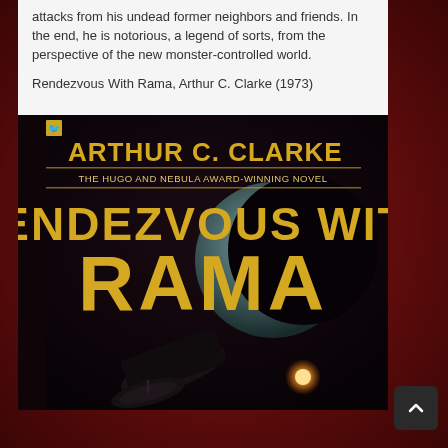attacks from his undead former neighbors and friends. In the end, he is notorious, a legend of sorts, from the perspective of the new monster-controlled world.
Rendezvous With Rama, Arthur C. Clarke (1973)
[Figure (photo): Book cover of 'Rendezvous With Rama' by Arthur C. Clarke. Dark background with large gold/orange text reading 'ARTHUR C. CLARKE' at top, subtitle 'THE HUGO AND NEBULA AWARD-WINNING NOVEL', then large text 'RENDEZVOUS WITH RAMA'. Cover art shows a large cylindrical spacecraft and a glowing star or light source in the lower portion.]